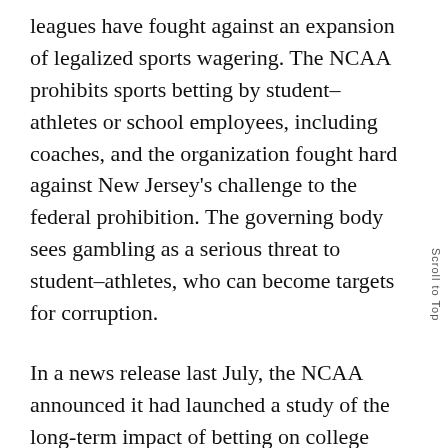leagues have fought against an expansion of legalized sports wagering. The NCAA prohibits sports betting by student–athletes or school employees, including coaches, and the organization fought hard against New Jersey's challenge to the federal prohibition. The governing body sees gambling as a serious threat to student–athletes, who can become targets for corruption.
In a news release last July, the NCAA announced it had launched a study of the long-term impact of betting on college sports, even as some universities began to look at the money-generating potential of wagering. SB44 would allow a sports governing body such as the NCAA to notify the Missouri Gaming Commission of a desire to restrict, limit, or exclude wagering on its sporting